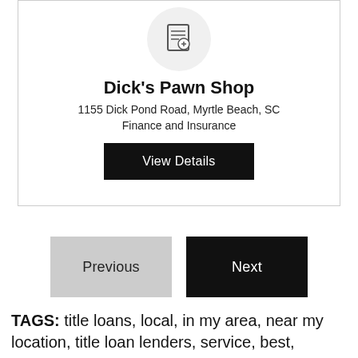[Figure (logo): Circular logo icon for Dick's Pawn Shop showing a document/receipt icon]
Dick's Pawn Shop
1155 Dick Pond Road, Myrtle Beach, SC
Finance and Insurance
View Details
Previous
Next
TAGS: title loans, local, in my area, near my location, title loan lenders, service, best,